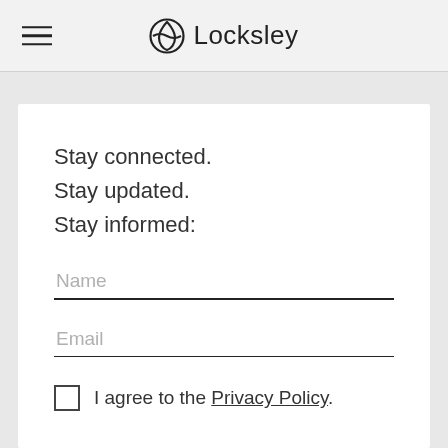Locksley
Stay connected.
Stay updated.
Stay informed:
Name
Email
I agree to the Privacy Policy.